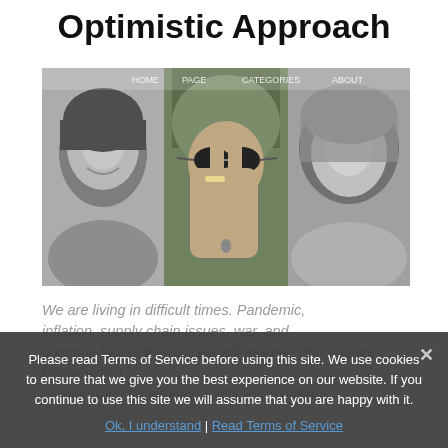Optimistic Approach
[Figure (photo): Three women in a collage: left panel shows a black-and-white portrait of a young woman smiling, center panel shows a woman in sunglasses making a peace sign in color, right panel shows a black-and-white portrait of another young woman looking sideways.]
We are living in difficult times. Pandemic, inflation, supply chain issues, war, and continue to use this site we will assume that you are happy with it. problems we face today. Sadly, even brilliant
Please read Terms of Service before using this site. We use cookies to ensure that we give you the best experience on our website. If you continue to use this site we will assume that you are happy with it.
Ok, I understand | Read Terms of Service